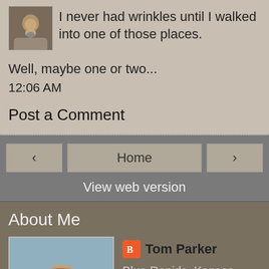I never had wrinkles until I walked into one of those places.
Well, maybe one or two...
12:06 AM
Post a Comment
[Figure (other): Navigation bar with back arrow, Home button, and forward arrow]
View web version
About Me
[Figure (photo): Profile photo of Tom Parker — man with beard outdoors]
Tom Parker
Blue Rapids, Kansas, United States
View my complete profile
Powered by Blogger.